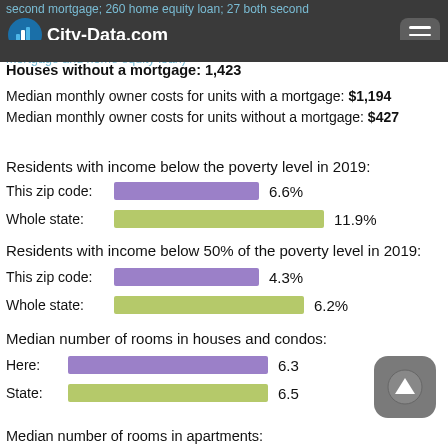second mortgage; 260 home equity loan; 27 both second mortgage and home equity loan)
Houses without a mortgage: 1,423
Median monthly owner costs for units with a mortgage: $1,194
Median monthly owner costs for units without a mortgage: $427
Residents with income below the poverty level in 2019:
This zip code: 6.6%
Whole state: 11.9%
Residents with income below 50% of the poverty level in 2019:
This zip code: 4.3%
Whole state: 6.2%
Median number of rooms in houses and condos:
Here: 6.3
State: 6.5
Median number of rooms in apartments: